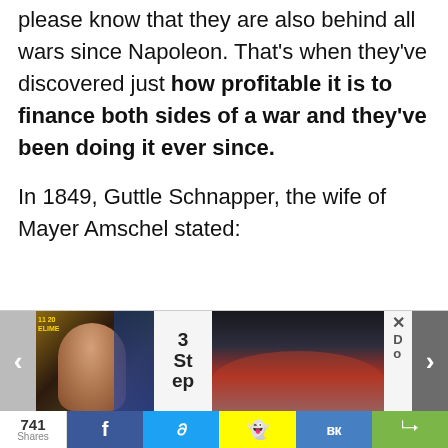please know that they are also behind all wars since Napoleon. That's when they've discovered just how profitable it is to finance both sides of a war and they've been doing it ever since.

In 1849, Guttle Schnapper, the wife of Mayer Amschel stated:
[Figure (screenshot): Website ad carousel with a person photo on the left, '3 Step' text in center, a product image on the right, navigation arrows, and a close/label area]
[Figure (infographic): Social share bar with count '741 Shares' and buttons for Facebook, Twitter, Snapchat, VK, and a generic share icon]